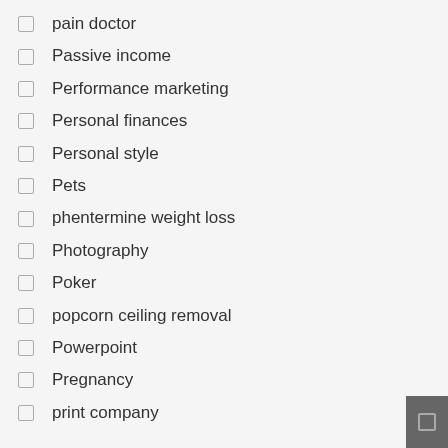pain doctor
Passive income
Performance marketing
Personal finances
Personal style
Pets
phentermine weight loss
Photography
Poker
popcorn ceiling removal
Powerpoint
Pregnancy
print company